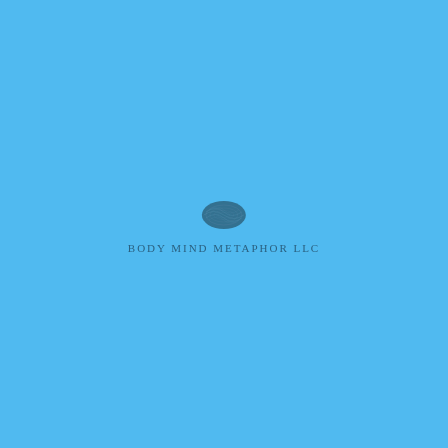[Figure (logo): Body Mind Metaphor LLC logo: a fingerprint/leaf shaped oval graphic in dark blue-gray on a bright sky blue background, with the company name 'BODY MIND METAPHOR LLC' in small spaced uppercase serif text below the mark.]